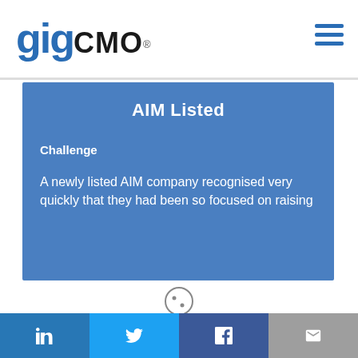gigCMO®
AIM Listed
Challenge
A newly listed AIM company recognised very quickly that they had been so focused on raising
[Figure (other): Cookie consent icon (cookie with two dots)]
GigCMO is using cookies to make your experience of this site as good as possible. By continuing to use the site, we assume that you are happy with our use of cookies. Please take a look at our Privacy policy and Terms of service .
Social links: LinkedIn, Twitter, Facebook, Email